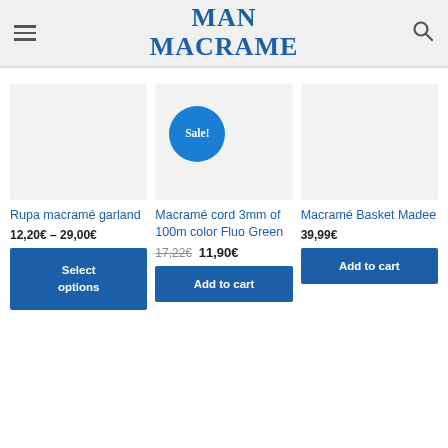MAN MACRAME
[Figure (other): Product image placeholder - light gray background, no product shown]
Rupa macramé garland
12,20€ – 29,00€
[Figure (other): Product image placeholder with blue Sale! badge circle]
Macramé cord 3mm of 100m color Fluo Green
17,22€  11,90€
[Figure (other): Product image placeholder - light gray background, no product shown]
Macramé Basket Madee
39,99€